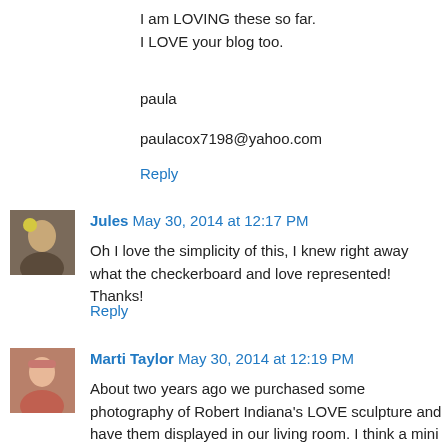I am LOVING these so far.
I LOVE your blog too.
paula
paulacox7198@yahoo.com
Reply
[Figure (photo): Avatar photo of Jules]
Jules May 30, 2014 at 12:17 PM
Oh I love the simplicity of this, I knew right away what the checkerboard and love represented! Thanks!
Reply
[Figure (photo): Avatar photo of Marti Taylor]
Marti Taylor May 30, 2014 at 12:19 PM
About two years ago we purchased some photography of Robert Indiana's LOVE sculpture and have them displayed in our living room. I think a mini quilt using these blocks would be the perfect addition for our space, thanks for the